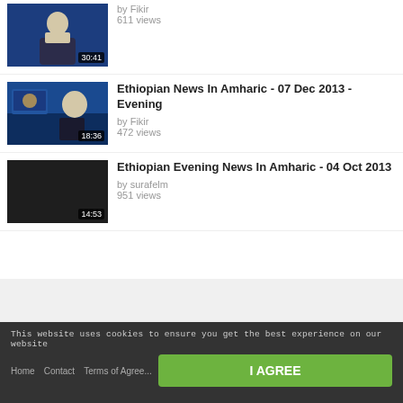[Figure (screenshot): Video thumbnail for first item with timestamp 30:41, shows news presenter]
by Fikir
611 views
[Figure (screenshot): Video thumbnail for Ethiopian News In Amharic - 07 Dec 2013 - Evening with timestamp 18:36]
Ethiopian News In Amharic - 07 Dec 2013 - Evening
by Fikir
472 views
[Figure (screenshot): Dark video thumbnail for Ethiopian Evening News In Amharic - 04 Oct 2013 with timestamp 14:53]
Ethiopian Evening News In Amharic - 04 Oct 2013
by surafelm
951 views
This website uses cookies to ensure you get the best experience on our website
I AGREE
Home  Contact  Terms of Agreement